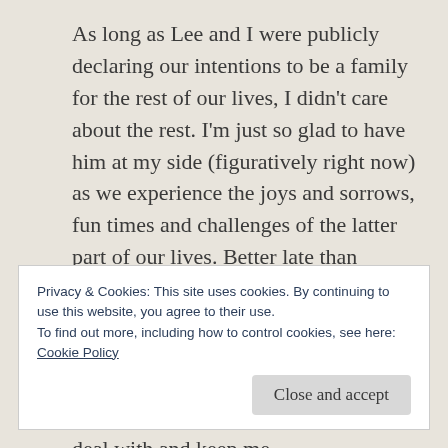As long as Lee and I were publicly declaring our intentions to be a family for the rest of our lives, I didn't care about the rest. I'm just so glad to have him at my side (figuratively right now) as we experience the joys and sorrows, fun times and challenges of the latter part of our lives. Better late than never!

Sitting here, separated by two counties and 80 miles away from my husband, and with yet ANOTHER exposure to deal with and keep me
Privacy & Cookies: This site uses cookies. By continuing to use this website, you agree to their use.
To find out more, including how to control cookies, see here:
Cookie Policy